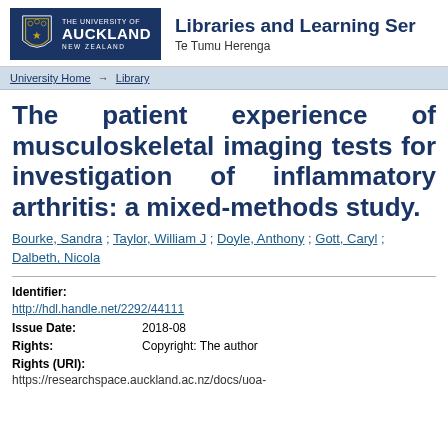Libraries and Learning Services — Te Tumu Herenga | The University of Auckland, New Zealand
University Home → Library
The patient experience of musculoskeletal imaging tests for investigation of inflammatory arthritis: a mixed-methods study.
Bourke, Sandra ; Taylor, William J ; Doyle, Anthony ; Gott, Caryl ; Dalbeth, Nicola
Identifier:
http://hdl.handle.net/2292/44111
Issue Date: 2018-08
Rights: Copyright: The author
Rights (URI):
https://researchspace.auckland.ac.nz/docs/uoa-